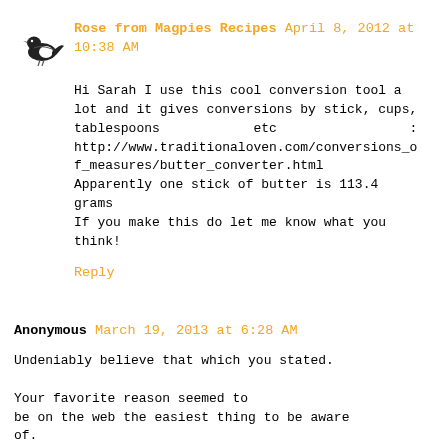[Figure (illustration): Small black bird (magpie) logo/avatar]
Rose from Magpies Recipes April 8, 2012 at 10:38 AM
Hi Sarah I use this cool conversion tool a lot and it gives conversions by stick, cups, tablespoons          etc          : http://www.traditionaloven.com/conversions_of_measures/butter_converter.html Apparently one stick of butter is 113.4 grams If you make this do let me know what you think!
Reply
Anonymous March 19, 2013 at 6:28 AM
Undeniably believe that which you stated.

Your favorite reason seemed to be on the web the easiest thing to be aware of.